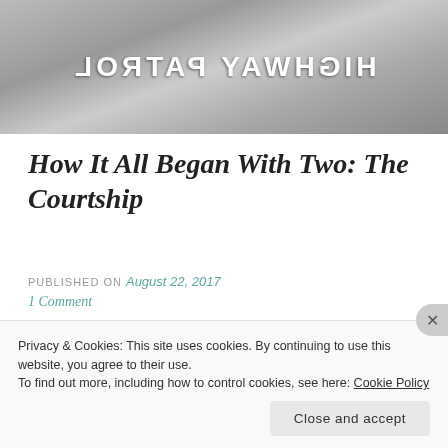[Figure (photo): Black and white photo showing a mirrored/reflected sign reading HIGHWAY PATROL, cropped at top of page]
How It All Began With Two: The Courtship
PUBLISHED ON August 22, 2017
1 Comment
It's amazing for me to
[Figure (photo): Dark/black rectangular image on the right side, partially visible]
Privacy & Cookies: This site uses cookies. By continuing to use this website, you agree to their use.
To find out more, including how to control cookies, see here: Cookie Policy